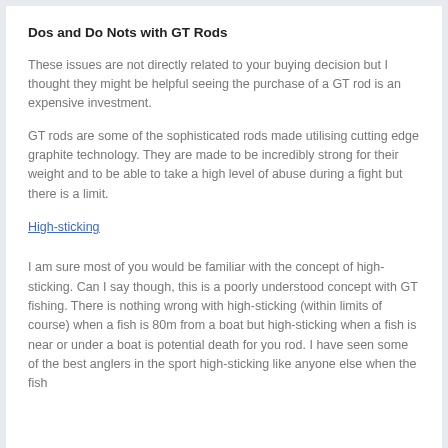Dos and Do Nots with GT Rods
These issues are not directly related to your buying decision but I thought they might be helpful seeing the purchase of a GT rod is an expensive investment.
GT rods are some of the sophisticated rods made utilising cutting edge graphite technology. They are made to be incredibly strong for their weight and to be able to take a high level of abuse during a fight but there is a limit.
High-sticking
I am sure most of you would be familiar with the concept of high-sticking. Can I say though, this is a poorly understood concept with GT fishing. There is nothing wrong with high-sticking (within limits of course) when a fish is 80m from a boat but high-sticking when a fish is near or under a boat is potential death for you rod. I have seen some of the best anglers in the sport high-sticking like anyone else when the fish